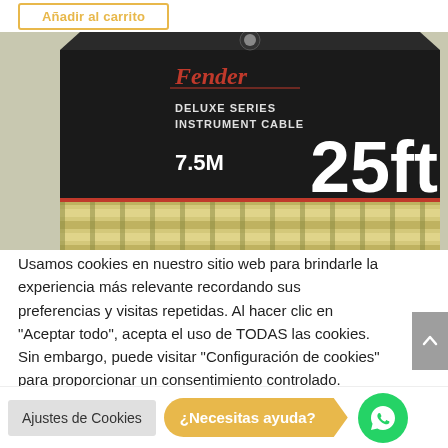Añadir al carrito
[Figure (photo): Fender Deluxe Series Instrument Cable packaging, black box with gold/cream braided cable. Shows '7.5M' and '25ft' text on the packaging.]
Usamos cookies en nuestro sitio web para brindarle la experiencia más relevante recordando sus preferencias y visitas repetidas. Al hacer clic en "Aceptar todo", acepta el uso de TODAS las cookies. Sin embargo, puede visitar "Configuración de cookies" para proporcionar un consentimiento controlado.
Ajustes de Cookies
¿Necesitas ayuda?